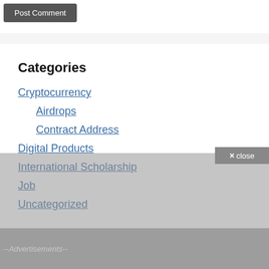[Figure (other): Post Comment button (dark gray rounded rectangle)]
Categories
Cryptocurrency
Airdrops
Contract Address
Digital Products
International Scholarship
Job
Uncategorized
--Advertisements--
× close
--Advertisements--